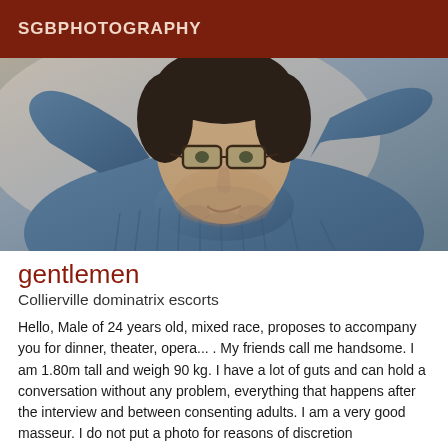SGBPHOTOGRAPHY
[Figure (photo): Young man with glasses lying on a surface with hands behind head, wearing a blue knit sweater]
gentlemen
Collierville dominatrix escorts
Hello, Male of 24 years old, mixed race, proposes to accompany you for dinner, theater, opera... . My friends call me handsome. I am 1.80m tall and weigh 90 kg. I have a lot of guts and can hold a conversation without any problem, everything that happens after the interview and between consenting adults. I am a very good masseur. I do not put a photo for reasons of discretion